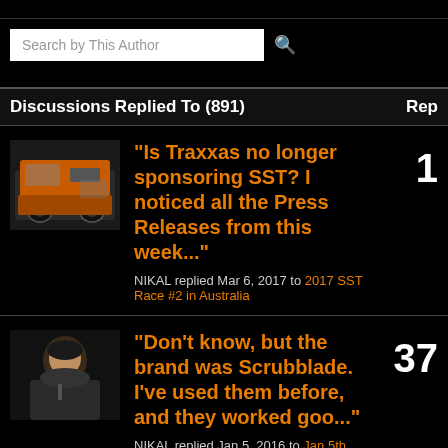Search by This Author
Discussions Replied To (891)   Rep
"Is Traxxas no longer sponsoring SST? I noticed all the Press Releases from this week..." NIKAL replied Mar 6, 2017 to 2017 SST Race #2 in Australia
"Don't know, but the brand was Scrubblade. I've used them before, and they worked goo..." NIKAL replied Jan 5, 2016 to Jan 5th, 2016 Dakar Rally Stage 3 Race Info & Discussion
"A detailed explanation of the partnership with Robby & KMC is posted on the RDC..."